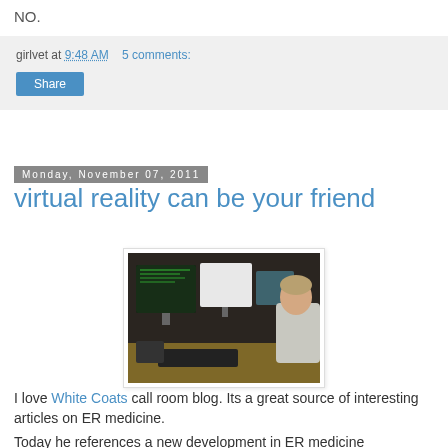NO.
girlvet at 9:48 AM   5 comments:
Share
Monday, November 07, 2011
virtual reality can be your friend
[Figure (photo): Person sitting at a workstation with multiple computer monitors displaying medical/ER software, viewed from behind/side angle in a clinical setting.]
I love White Coats call room blog. Its a great source of interesting articles on ER medicine.
Today he references a new development in ER medicine